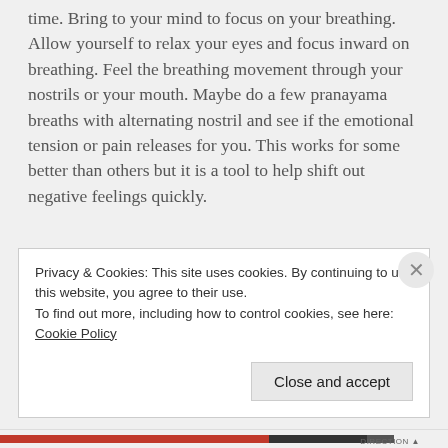time. Bring to your mind to focus on your breathing. Allow yourself to relax your eyes and focus inward on breathing. Feel the breathing movement through your nostrils or your mouth. Maybe do a few pranayama breaths with alternating nostril and see if the emotional tension or pain releases for you. This works for some better than others but it is a tool to help shift out negative feelings quickly.
Privacy & Cookies: This site uses cookies. By continuing to use this website, you agree to their use.
To find out more, including how to control cookies, see here: Cookie Policy